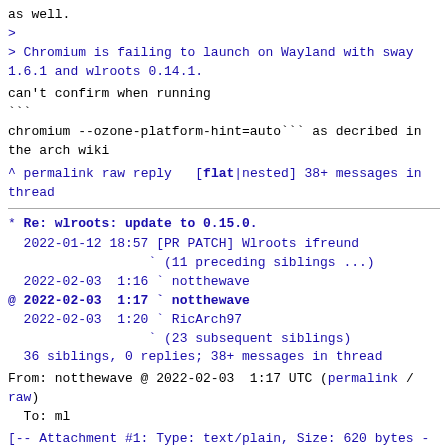as well.
>
> Chromium is failing to launch on Wayland with sway
1.6.1 and wlroots 0.14.1.
can't confirm when running
```
chromium --ozone-platform-hint=auto``` as decribed in
the arch wiki
^ permalink raw reply   [flat|nested] 38+ messages in
thread
* Re: wlroots: update to 0.15.0.
2022-01-12 18:57 [PR PATCH] Wlroots ifreund
                  (11 preceding siblings ...)
2022-02-03  1:16 ` notthewave
@ 2022-02-03  1:17 ` notthewave
  2022-02-03  1:20 ` RicArch97
                  (23 subsequent siblings)
  36 siblings, 0 replies; 38+ messages in thread
From: notthewave @ 2022-02-03  1:17 UTC (permalink /
raw)
  To: ml
[-- Attachment #1: Type: text/plain, Size: 620 bytes --]
New comment by notthewave on void-packages repository